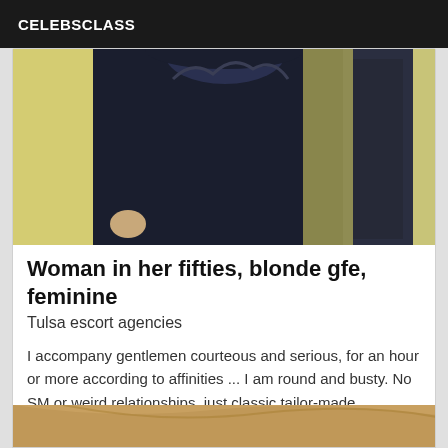CELEBSCLASS
[Figure (photo): Person wearing a black lace/knit top photographed from neck down, taking a selfie. Background is yellowish wall.]
Woman in her fifties, blonde gfe, feminine
Tulsa escort agencies
I accompany gentlemen courteous and serious, for an hour or more according to affinities ... I am round and busty. No SM or weird relationships, just classic tailor-made.
[Figure (photo): Partial photo of a person with blonde hair, cropped at bottom of page.]